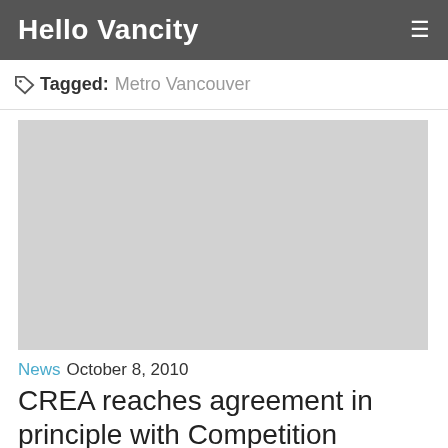Hello Vancity
Tagged: Metro Vancouver
[Figure (photo): Gray placeholder image for article thumbnail]
News  October 8, 2010
CREA reaches agreement in principle with Competition Commissioner
The Canadian Real Estate